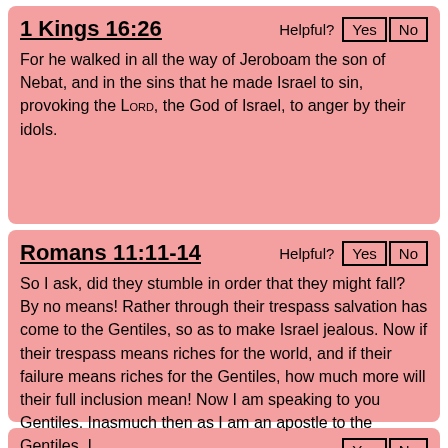1 Kings 16:26
For he walked in all the way of Jeroboam the son of Nebat, and in the sins that he made Israel to sin, provoking the LORD, the God of Israel, to anger by their idols.
Romans 11:11-14
So I ask, did they stumble in order that they might fall? By no means! Rather through their trespass salvation has come to the Gentiles, so as to make Israel jealous. Now if their trespass means riches for the world, and if their failure means riches for the Gentiles, how much more will their full inclusion mean! Now I am speaking to you Gentiles. Inasmuch then as I am an apostle to the Gentiles, I